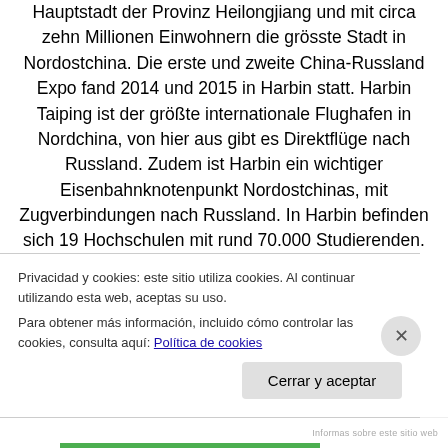Hauptstadt der Provinz Heilongjiang und mit circa zehn Millionen Einwohnern die grösste Stadt in Nordostchina. Die erste und zweite China-Russland Expo fand 2014 und 2015 in Harbin statt. Harbin Taiping ist der größte internationale Flughafen in Nordchina, von hier aus gibt es Direktflüge nach Russland. Zudem ist Harbin ein wichtiger Eisenbahnknotenpunkt Nordostchinas, mit Zugverbindungen nach Russland. In Harbin befinden sich 19 Hochschulen mit rund 70.000 Studierenden. Die Technische Universität Harbin gehört zu den zehn besten
Privacidad y cookies: este sitio utiliza cookies. Al continuar utilizando esta web, aceptas su uso.
Para obtener más información, incluido cómo controlar las cookies, consulta aquí: Política de cookies
Cerrar y aceptar